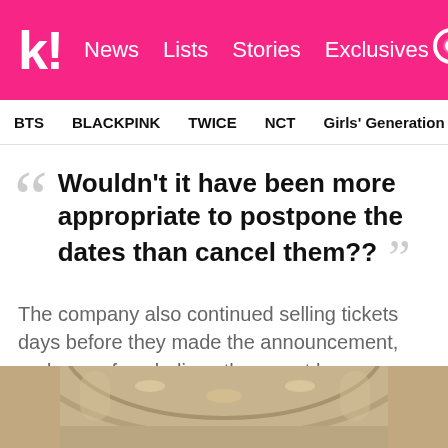k! News Lists Stories Exclusives
BTS BLACKPINK TWICE NCT Girls' Generation aespa
"Wouldn't it have been more appropriate to postpone the dates than cancel them??"
The company also continued selling tickets days before they made the announcement, and some fans believe they must have already made internal decisions at that point.
[Figure (photo): Interior of an ornate building with arched ceiling and chandeliers]